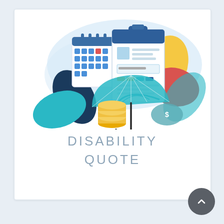[Figure (illustration): Disability insurance illustration showing a clipboard with a form, a calendar, a teal umbrella, gold coins, decorative leaves in yellow, red, and dark blue, and a dollar sign coin on a light blue cloud background.]
DISABILITY QUOTE